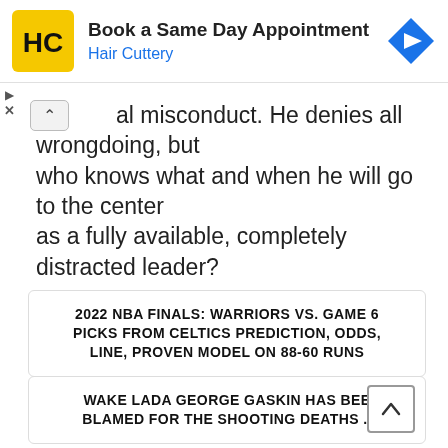[Figure (infographic): Hair Cuttery advertisement banner with HC logo (yellow square with black HC letters), text 'Book a Same Day Appointment' and 'Hair Cuttery' in blue, and a blue navigation arrow icon on the right.]
al misconduct. He denies all wrongdoing, but who knows what and when he will go to the center as a fully available, completely distracted leader?
2022 NBA FINALS: WARRIORS VS. GAME 6 PICKS FROM CELTICS PREDICTION, ODDS, LINE, PROVEN MODEL ON 88-60 RUNS
WAKE LADA GEORGE GASKIN HAS BEEN BLAMED FOR THE SHOOTING DEATHS ...